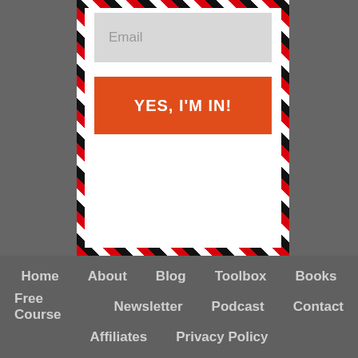[Figure (screenshot): Email input field (light gray background) with placeholder text 'Email', above a large orange button labeled 'YES, I'M IN!' in white bold text. The form is contained within an airmail-style border with red/black diagonal stripes on a dark gray background.]
Home
About
Blog
Toolbox
Books
Free Course
Newsletter
Podcast
Contact
Affiliates
Privacy Policy
Copyright © 2022 John Fotheringham | Theme from Elegant Themes | Hosting by WP Engine